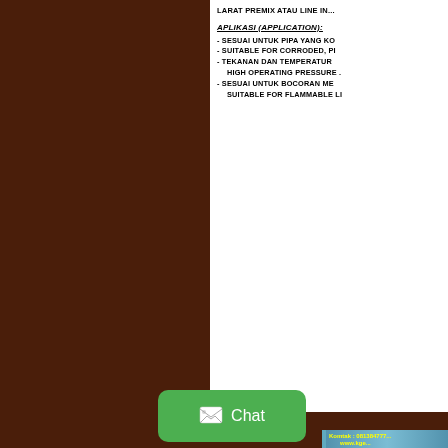- SESUAI UNTUK PIPA YANG KO... - SUITABLE FOR CORRODED, PI... - TEKANAN DAN TEMPERATUR... HIGH OPERATING PRESSURE ... - SESUAI UNTUK BOCORAN ME... SUITABLE FOR FLAMMABLE LI...
APLIKASI (APPLICATION):
- SESUAI UNTUK PIPA YANG KO
- SUITABLE FOR CORRODED, PI
- TEKANAN DAN TEMPERATUR
HIGH OPERATING PRESSURE ...
- SESUAI UNTUK BOCORAN ME
SUITABLE FOR FLAMMABLE LI
[Figure (photo): Photo of a person wearing a white hard hat against a blue textured wall background with yellow contact text overlay: Komtak : 0813847777... www.kge...]
Komtak : 081384777... www.kge...
[Figure (other): Green chat button with white image icon and Chat label]